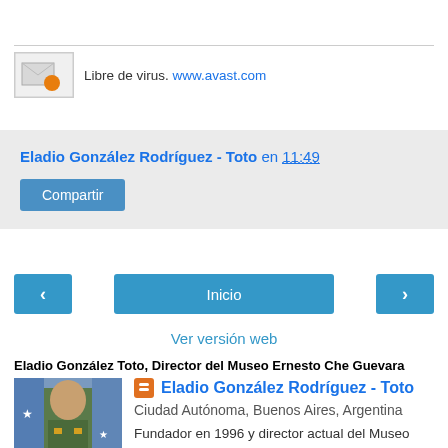Libre de virus. www.avast.com
Eladio González Rodríguez - Toto en 11:49
Compartir
‹
Inicio
›
Ver versión web
Eladio González Toto, Director del Museo Ernesto Che Guevara
[Figure (photo): Profile photo of Eladio González Rodríguez - Toto]
Eladio González Rodríguez - Toto
Ciudad Autónoma, Buenos Aires, Argentina
Fundador en 1996 y director actual del Museo Ernesto Che Guevara, altruísta donante de sangre. Apicultor, militante contra la guerra. Difunde donación Células Madre...